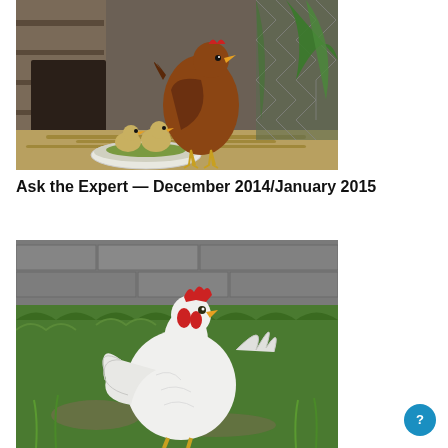[Figure (photo): A brown hen sitting in a wooden chicken coop doorway with two ducklings beside her, hay on the ground and a white bowl with green food, chain-link fence and green plants in background]
Ask the Expert — December 2014/January 2015
[Figure (photo): A white rooster with red comb standing on grass and gravel, facing right, with a stone wall in the background]